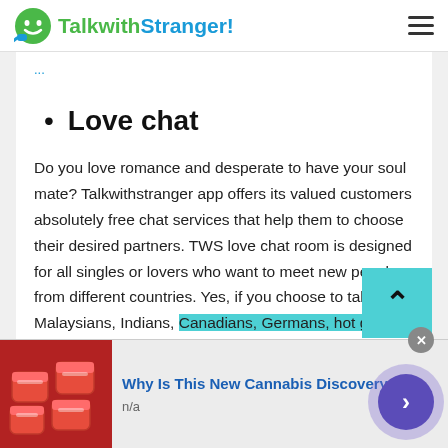TalkwithStranger!
Love chat
Do you love romance and desperate to have your soul mate? Talkwithstranger app offers its valued customers absolutely free chat services that help them to choose their desired partners. TWS love chat room is designed for all singles or lovers who want to meet new people from different countries. Yes, if you choose to talk to Malaysians, Indians, Canadians, Germans, hot girls and handsome boys
[Figure (screenshot): Advertisement banner with candy image and text 'Why Is This New Cannabis Discovery So' with n/a subtext and navigation arrow button]